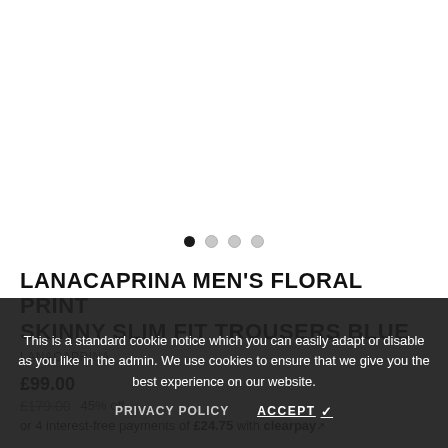[Figure (other): Product image carousel area (white background, no visible product image), with four navigation dots below — first dot filled/active, three dots inactive]
LANACAPRINA MEN'S FLORAL PRINT SKINNY SLIM FIT TROUSERS BLUE
LANACAPRINA
£99.00
£179.00  45% off
or 4 interest-free payments of £24.75 with clearpay
This is a standard cookie notice which you can easily adapt or disable as you like in the admin. We use cookies to ensure that we give you the best experience on our website.
PRIVACY POLICY   ACCEPT ✓